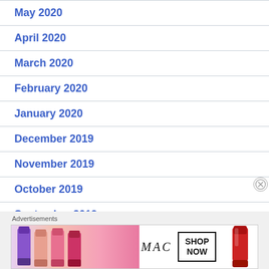May 2020
April 2020
March 2020
February 2020
January 2020
December 2019
November 2019
October 2019
September 2019
Advertisements
[Figure (illustration): MAC cosmetics advertisement banner showing lipsticks in purple, pink, and red colors with MAC logo and SHOP NOW button]